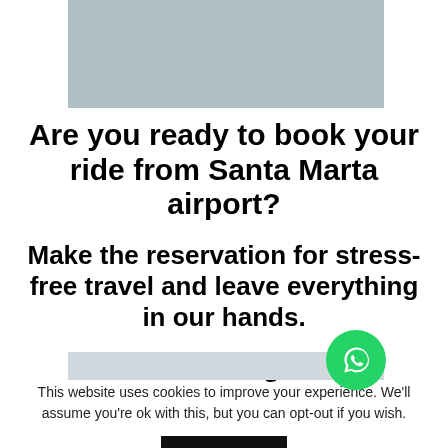[Figure (photo): Gray rectangular image placeholder at top of page]
Are you ready to book your ride from Santa Marta airport?
Make the reservation for stress-free travel and leave everything in our hands.
You won't regret it!
[Figure (illustration): Gray rectangular image placeholder, partially visible at bottom]
[Figure (logo): WhatsApp green circular button icon]
This website uses cookies to improve your experience. We'll assume you're ok with this, but you can opt-out if you wish.
ACCEPT